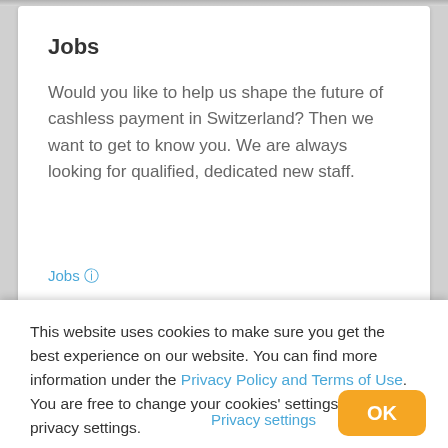Jobs
Would you like to help us shape the future of cashless payment in Switzerland? Then we want to get to know you. We are always looking for qualified, dedicated new staff.
This website uses cookies to make sure you get the best experience on our website. You can find more information under the Privacy Policy and Terms of Use. You are free to change your cookies' settings in the privacy settings.
Privacy settings
OK